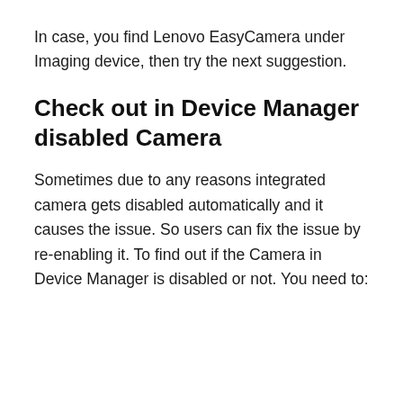In case, you find Lenovo EasyCamera under Imaging device, then try the next suggestion.
Check out in Device Manager disabled Camera
Sometimes due to any reasons integrated camera gets disabled automatically and it causes the issue. So users can fix the issue by re-enabling it. To find out if the Camera in Device Manager is disabled or not. You need to: